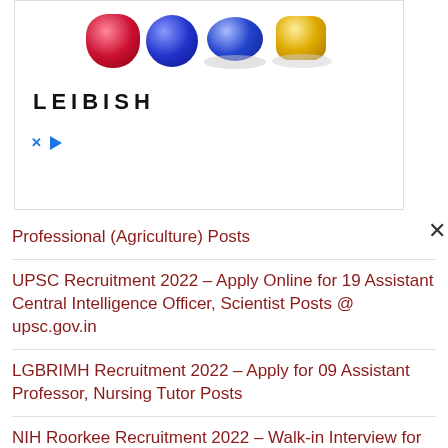[Figure (photo): Advertisement banner for LEIBISH jewelry showing gemstones (red ruby, blue sapphire, blue oval stone, yellow diamond) and the brand name LEIBISH]
Professional (Agriculture) Posts
UPSC Recruitment 2022 – Apply Online for 19 Assistant Central Intelligence Officer, Scientist Posts @ upsc.gov.in
LGBRIMH Recruitment 2022 – Apply for 09 Assistant Professor, Nursing Tutor Posts
NIH Roorkee Recruitment 2022 – Walk-in Interview for 01 Resource Person Post
Assam University Recruitment 2022 – Walk-in Interview for 01 Project Assistant Post
NLC Recruitment 2022 – Apply Online for 226 Executive Engineer, Manager Posts @ nlcindia.in